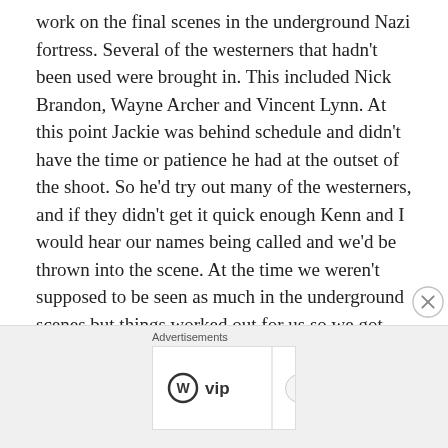work on the final scenes in the underground Nazi fortress. Several of the westerners that hadn't been used were brought in. This included Nick Brandon, Wayne Archer and Vincent Lynn. At this point Jackie was behind schedule and didn't have the time or patience he had at the outset of the shoot. So he'd try out many of the westerners, and if they didn't get it quick enough Kenn and I would hear our names being called and we'd be thrown into the scene. At the time we weren't supposed to be seen as much in the underground scenes but things worked out for us so we got used a lot more than expected.
Overall I learnt the most from working with Jackie. It was
[Figure (other): Advertisement banner featuring WordPress VIP logo, colorful background with social media brand names (Slack, Facebook), and a 'Learn more →' button. Labeled 'Advertisements' at top.]